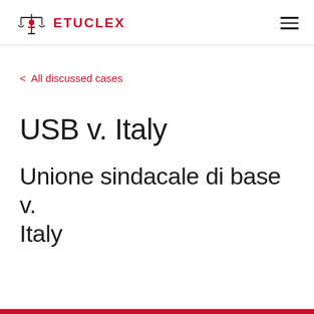ETUCLEX
< All discussed cases
USB v. Italy
Unione sindacale di base v. Italy